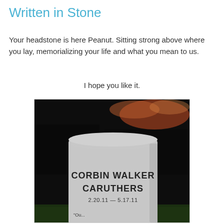Written in Stone
Your headstone is here Peanut. Sitting strong above where you lay, memorializing your life and what you mean to us.
I hope you like it.
[Figure (photo): A photograph of a granite headstone at dusk/sunset. The headstone reads: CORBIN WALKER CARUTHERS, 2.20.11 — 5.17.11, with a partially visible quote at the bottom.]